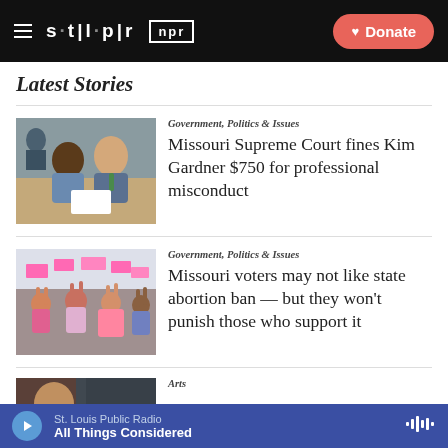stl|pr | npr | Donate
Latest Stories
Government, Politics & Issues
Missouri Supreme Court fines Kim Gardner $750 for professional misconduct
[Figure (photo): Two people sitting at a table, a woman and a man in suits, appearing to be in a courtroom or formal setting]
Government, Politics & Issues
Missouri voters may not like state abortion ban — but they won't punish those who support it
[Figure (photo): Crowd of people with raised hands at what appears to be a protest or rally, colorful signs visible]
Arts
[Figure (photo): Partial image, dark tones, partially cut off]
St. Louis Public Radio | All Things Considered